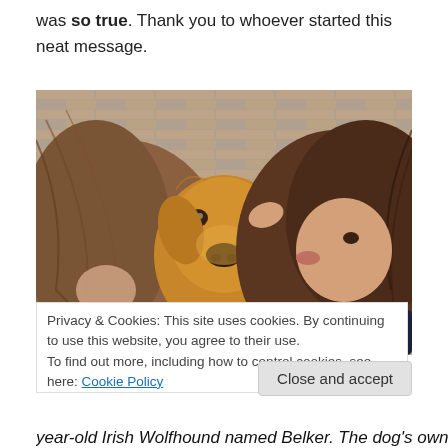was so true. Thank you to whoever started this neat message.
[Figure (photo): Two children kissing a golden retriever dog on both cheeks, close-up portrait outdoors with brick wall background.]
Privacy & Cookies: This site uses cookies. By continuing to use this website, you agree to their use.
To find out more, including how to control cookies, see here: Cookie Policy
Close and accept
year-old Irish Wolfhound named Belker. The dog's owners,